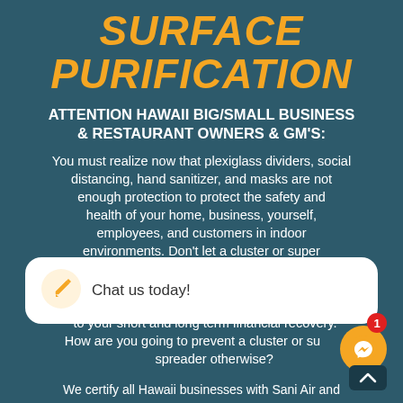SURFACE PURIFICATION
ATTENTION HAWAII BIG/SMALL BUSINESS & RESTAURANT OWNERS & GM'S:
You must realize now that plexiglass dividers, social distancing, hand sanitizer, and masks are not enough protection to protect the safety and health of your home, business, yourself, employees, and customers in indoor environments. Don't let a cluster or super spreader impact and close your business forever! Sani [obscured by chat bubble] FDA [obscured] to your short and long term financial recovery. How are you going to prevent a cluster or super spreader otherwise?
[Figure (other): Chat bubble overlay with pencil/edit icon and text 'Chat us today!']
We certify all Hawaii businesses with Sani Air and